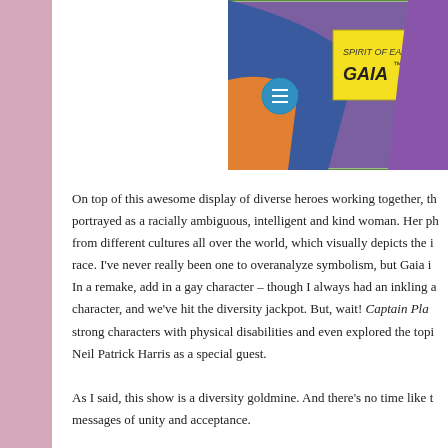[Figure (illustration): Comic book style illustration showing a character with text reading 'SPIRIT OF EARTH... GAIA™']
On top of this awesome display of diverse heroes working together, th portrayed as a racially ambiguous, intelligent and kind woman. Her ph from different cultures all over the world, which visually depicts the i race. I've never really been one to overanalyze symbolism, but Gaia i In a remake, add in a gay character – though I always had an inkling a character, and we've hit the diversity jackpot. But, wait! Captain Pla strong characters with physical disabilities and even explored the topi Neil Patrick Harris as a special guest.

As I said, this show is a diversity goldmine. And there's no time like t messages of unity and acceptance.

So, how does this tie into the element of water? It could work in a few